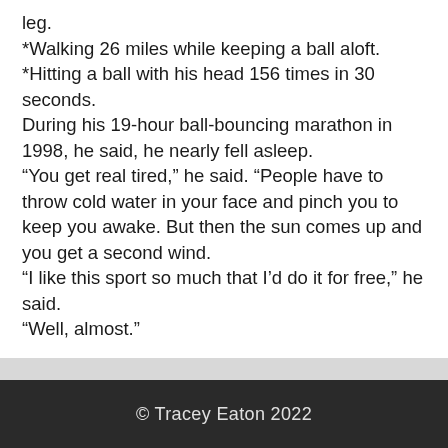leg.
*Walking 26 miles while keeping a ball aloft.
*Hitting a ball with his head 156 times in 30 seconds.
During his 19-hour ball-bouncing marathon in 1998, he said, he nearly fell asleep.
“You get real tired,” he said. “People have to throw cold water in your face and pinch you to keep you awake. But then the sun comes up and you get a second wind.
“I like this sport so much that I’d do it for free,” he said.
“Well, almost.”
© Tracey Eaton 2022